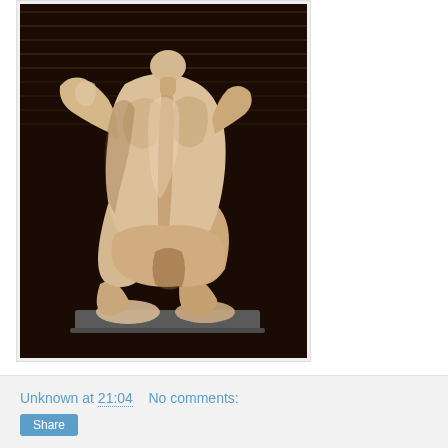[Figure (photo): Photograph of a marble or alabaster sculpture of a crouching/kneeling human figure, viewed from the back, against a dark background. The sculpture is pale cream/beige with subtle veining.]
Unknown at 21:04    No comments:
Share